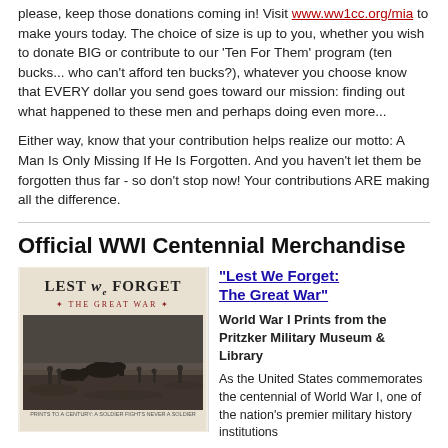please, keep those donations coming in! Visit www.ww1cc.org/mia to make yours today. The choice of size is up to you, whether you wish to donate BIG or contribute to our 'Ten For Them' program (ten bucks... who can't afford ten bucks?), whatever you choose know that EVERY dollar you send goes toward our mission: finding out what happened to these men and perhaps doing even more...
Either way, know that your contribution helps realize our motto: A Man Is Only Missing If He Is Forgotten. And you haven't let them be forgotten thus far - so don't stop now! Your contributions ARE making all the difference.
Official WWI Centennial Merchandise
[Figure (photo): Book cover image for 'Lest We Forget: The Great War' showing the title text over a sepia-toned WWI battlefield scene with soldiers and horses]
"Lest We Forget: The Great War"
World War I Prints from the Pritzker Military Museum & Library
As the United States commemorates the centennial of World War I, one of the nation's premier military history institutions